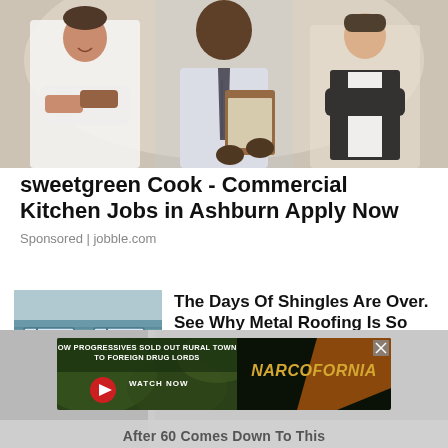[Figure (photo): Three restaurant workers posing: a female chef in white uniform on left, a male manager in shirt and tie holding clipboard in center, and a female waitress in black vest on right]
sweetgreen Cook - Commercial Kitchen Jobs in Ashburn Apply Now
Sponsored | jobble.com
[Figure (photo): A house with teal/blue siding and a metal roof with gray shingles]
The Days Of Shingles Are Over. See Why Metal Roofing Is So Affordable And Popular Now
Sponsored | MetalRoofNation.com
[Figure (screenshot): Advertisement banner: 'HOW PROGRESSIVES SOLD OUT RURAL TOWNS TO FOREIGN DRUG LORDS' - NARCOFORNIA - WATCH NOW button]
After 60 Comes Down To This